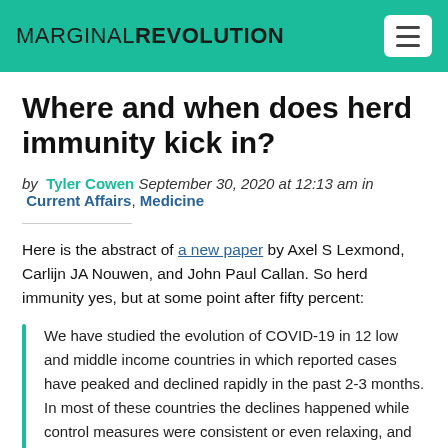MARGINAL REVOLUTION
Where and when does herd immunity kick in?
by Tyler Cowen September 30, 2020 at 12:13 am in Current Affairs, Medicine
Here is the abstract of a new paper by Axel S Lexmond, Carlijn JA Nouwen, and John Paul Callan. So herd immunity yes, but at some point after fifty percent:
We have studied the evolution of COVID-19 in 12 low and middle income countries in which reported cases have peaked and declined rapidly in the past 2-3 months. In most of these countries the declines happened while control measures were consistent or even relaxing, and without signs of significant increases in cases that might indicate second waves. For the 12 countries we studied, the